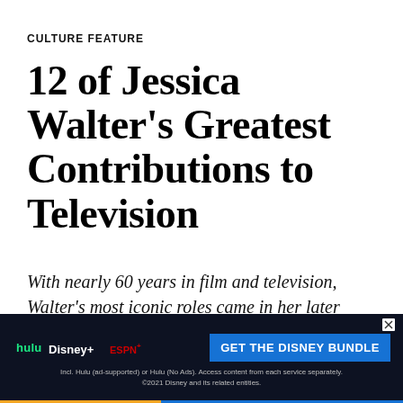CULTURE FEATURE
12 of Jessica Walter's Greatest Contributions to Television
With nearly 60 years in film and television, Walter's most iconic roles came in her later years.
Keith Baldwin
[Figure (infographic): Disney Bundle advertisement banner showing Hulu, Disney+, and ESPN+ logos with 'GET THE DISNEY BUNDLE' call-to-action button and fine print about ad-supported plans.]